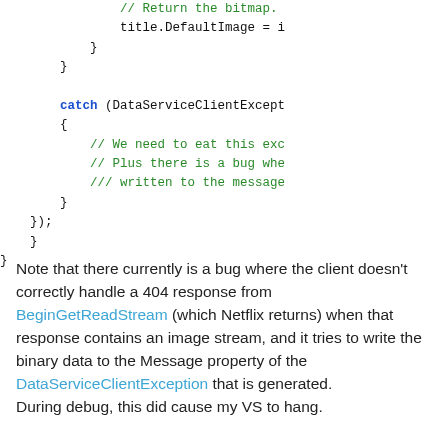Code block showing catch block and closing braces with code comments
Note that there currently is a bug where the client doesn't correctly handle a 404 response from BeginGetReadStream (which Netflix returns) when that response contains an image stream, and it tries to write the binary data to the Message property of the DataServiceClientException that is generated. During debug, this did cause my VS to hang.